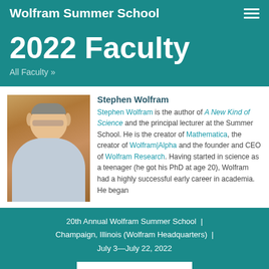Wolfram Summer School
2022 Faculty
All Faculty »
[Figure (photo): Portrait photo of Stephen Wolfram, a middle-aged man with glasses and short hair, wearing a light blue shirt, standing in front of a yellow/wooden background.]
Stephen Wolfram
Stephen Wolfram is the author of A New Kind of Science and the principal lecturer at the Summer School. He is the creator of Mathematica, the creator of Wolfram|Alpha and the founder and CEO of Wolfram Research. Having started in science as a teenager (he got his PhD at age 20), Wolfram had a highly successful early career in academia. He began
20th Annual Wolfram Summer School | Champaign, Illinois (Wolfram Headquarters) | July 3—July 22, 2022
APPLY TODAY